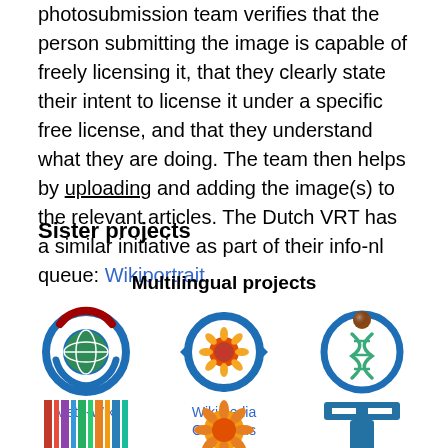photosubmission team verifies that the person submitting the image is capable of freely licensing it, that they clearly state their intent to license it under a specific free license, and that they understand what they are doing. The team then helps by uploading and adding the image(s) to the relevant articles. The Dutch VRT has a similar initiative as part of their info-nl queue: Wikiportrait.
Sister projects
Multilingual projects
[Figure (logo): Meta-Wiki logo — blue circular arrows with green globe]
Meta-Wiki
[Figure (logo): Wikimedia Commons logo — blue circular arrows with red/orange sunflower center]
Wikimedia Commons
[Figure (logo): Wikispecies logo — blue circle with green DNA helix and brown sphere]
Wikispecies
[Figure (logo): Bottom row logos partially visible — colorful barcode-like, sunflower, and T-letter logos]
Bottom row logos (partially visible)